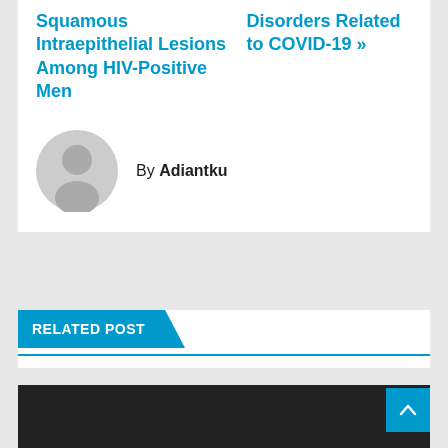Squamous Intraepithelial Lesions Among HIV-Positive Men
Disorders Related to COVID-19 >>
By Adiantku
RELATED POST
[Figure (photo): Dark image area at the bottom of the page, partially visible]